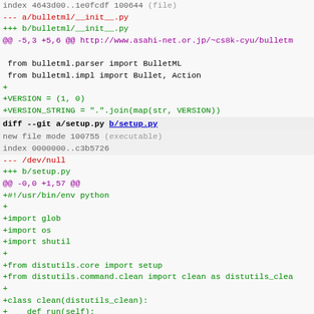index 4643d00..1e0fcdf 100644 (file)
--- a/bulletml/__init__.py
+++ b/bulletml/__init__.py
@@ -5,3 +5,6 @@ http://www.asahi-net.or.jp/~cs8k-cyu/bulletm
 
  from bulletml.parser import BulletML
  from bulletml.impl import Bullet, Action
+
+VERSION = (1, 0)
+VERSION_STRING = ".".join(map(str, VERSION))
diff --git a/setup.py b/setup.py
new file mode 100755 (executable)
index 0000000..c3b5726
--- /dev/null
+++ b/setup.py
@@ -0,0 +1,57 @@
+#!/usr/bin/env python
+
+import glob
+import os
+import shutil
+
+from distutils.core import setup
+from distutils.command.clean import clean as distutils_clea
+
+class clean(distutils_clean):
+    def run(self):
+        # In addition to what the normal clean run does, re
+        # and pyo and backup files from the source tree.
+        distutils_clean.run(self)